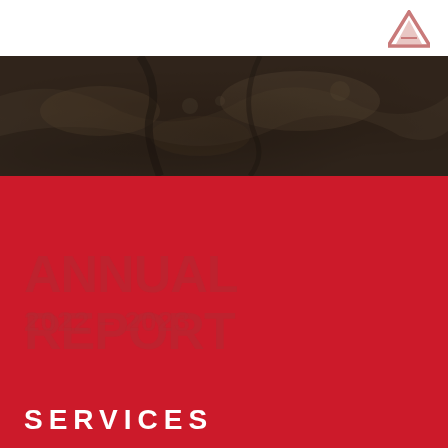[Figure (logo): Triangular/mountain-shaped company logo in top-right corner, pink/rose color on white background]
[Figure (photo): Aerial photograph of terrain/landscape showing earth tones - browns, tans, and dark areas, with a dark overlay, forming a horizontal band]
SERVICES